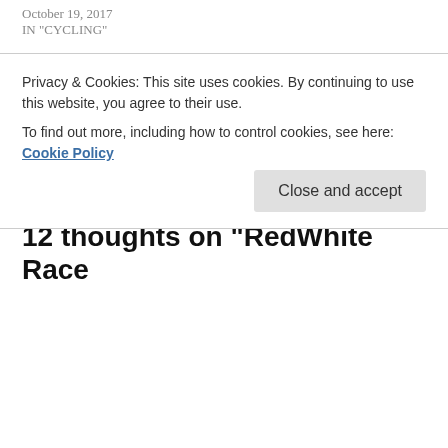October 19, 2017
IN "CYCLING"
Redwhite: the Bibs
September 5, 2016
IN "CYCLING"
RedWhite : The Jersey
December 8, 2017
IN "CYCLING"
JUNE 22, 2016
BENDELAROUBAIX
#ASSOS #BIBSHORTS #CYCLE #CYCLING #KIT #REDWHITE
Privacy & Cookies: This site uses cookies. By continuing to use this website, you agree to their use.
To find out more, including how to control cookies, see here: Cookie Policy
12 thoughts on "RedWhite Race